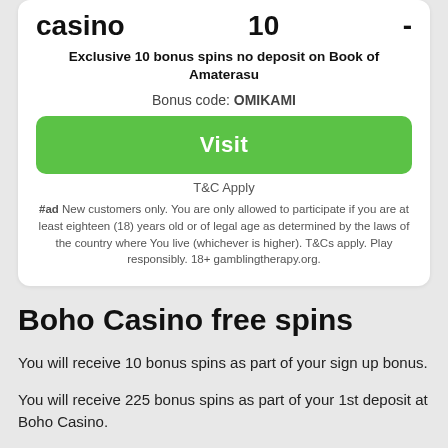casino   10   -
Exclusive 10 bonus spins no deposit on Book of Amaterasu
Bonus code: OMIKAMI
Visit
T&C Apply
#ad New customers only. You are only allowed to participate if you are at least eighteen (18) years old or of legal age as determined by the laws of the country where You live (whichever is higher). T&Cs apply. Play responsibly. 18+ gamblingtherapy.org.
Boho Casino free spins
You will receive 10 bonus spins as part of your sign up bonus.
You will receive 225 bonus spins as part of your 1st deposit at Boho Casino.